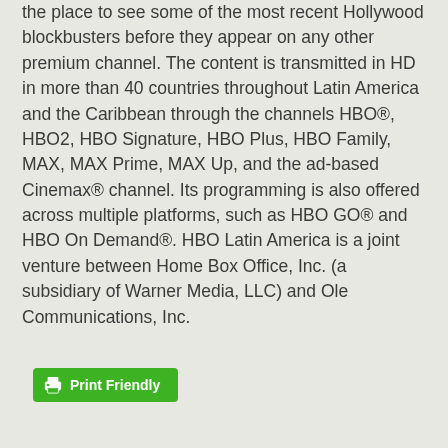the place to see some of the most recent Hollywood blockbusters before they appear on any other premium channel. The content is transmitted in HD in more than 40 countries throughout Latin America and the Caribbean through the channels HBO®, HBO2, HBO Signature, HBO Plus, HBO Family, MAX, MAX Prime, MAX Up, and the ad-based Cinemax® channel. Its programming is also offered across multiple platforms, such as HBO GO® and HBO On Demand®. HBO Latin America is a joint venture between Home Box Office, Inc. (a subsidiary of Warner Media, LLC) and Ole Communications, Inc.
[Figure (other): Green 'Print Friendly' button with printer icon]